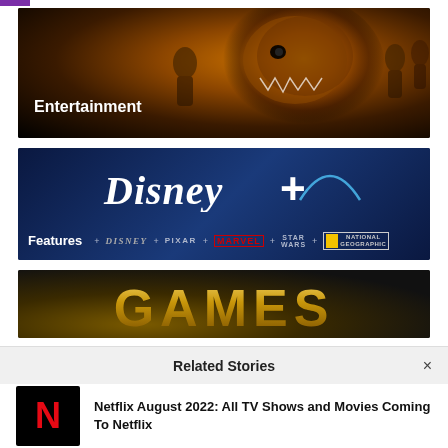[Figure (photo): Entertainment category card with Jurassic World movie imagery — dark background with orange/golden dinosaur skull glow, showing characters. Label 'Entertainment' in white text bottom-left.]
[Figure (photo): Disney+ Features card — dark blue background with Disney+ logo in white script and '+' symbol, arc highlight top right. Bottom bar shows: Features + Disney + PIXAR + MARVEL + STAR WARS + NATIONAL GEOGRAPHIC branding.]
[Figure (photo): Games category card — dark background with large golden/yellow metallic 'GAMES' text centered.]
Related Stories
Netflix August 2022: All TV Shows and Movies Coming To Netflix